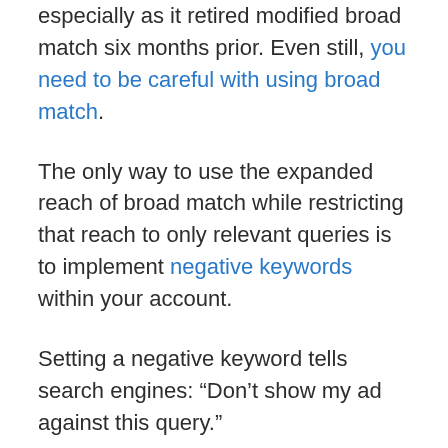especially as it retired modified broad match six months prior. Even still, you need to be careful with using broad match.
The only way to use the expanded reach of broad match while restricting that reach to only relevant queries is to implement negative keywords within your account.
Setting a negative keyword tells search engines: “Don’t show my ad against this query.”
The challenge with negative keywords is